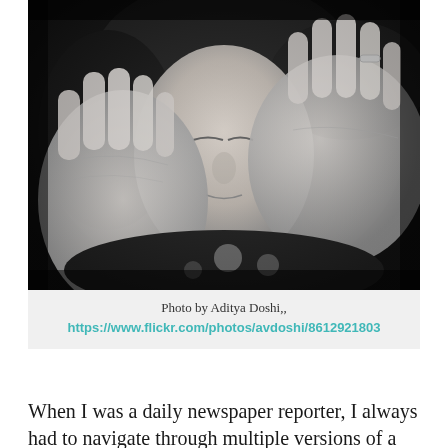[Figure (photo): Black and white photograph of a woman with eyes closed, holding both hands up near her face in a defensive or shielding gesture. She is wearing a polka dot garment. A ring is visible on one finger.]
Photo by Aditya Doshi,,
https://www.flickr.com/photos/avdoshi/8612921803
When I was a daily newspaper reporter, I always had to navigate through multiple versions of a story